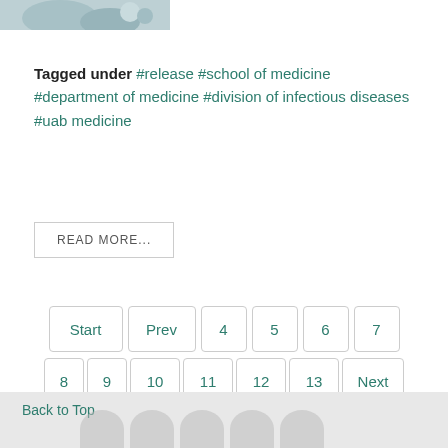[Figure (photo): Partial image of a person, cropped at top]
Tagged under  #release  #school of medicine  #department of medicine  #division of infectious diseases  #uab medicine
READ MORE...
Start  Prev  4  5  6  7  8  9  10  11  12  13  Next  End
Page 9 of 146
Back to Top